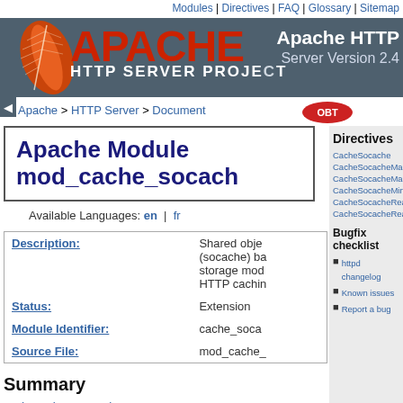Modules | Directives | FAQ | Glossary | Sitemap
[Figure (logo): Apache HTTP Server Project banner with feather logo, red APACHE text, and 'Apache HTTP Server Version 2.4' on dark background]
Apache > HTTP Server > Document
Apache Module mod_cache_socac
Available Languages: en | fr
| Field | Value |
| --- | --- |
| Description: | Shared object (socache) ba storage mod HTTP cachin |
| Status: | Extension |
| Module Identifier: | cache_soca |
| Source File: | mod_cache_ |
Summary
mod_cache_socache
Directives
CacheSocache
CacheSocacheMaxSize
CacheSocacheMaxTime
CacheSocacheMinTime
CacheSocacheReadSize
CacheSocacheReadTime
Bugfix checklist
httpd changelog
Known issues
Report a bug